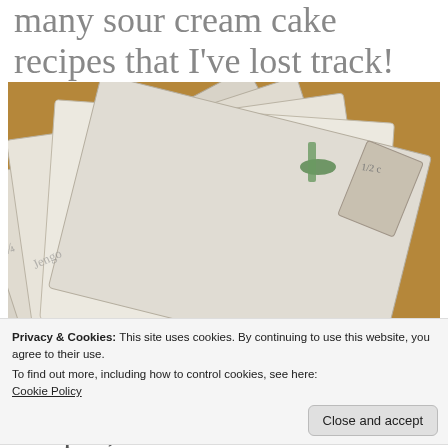many sour cream cake recipes that I've lost track!
[Figure (photo): A fan of vintage handwritten recipe cards spread out, showing cursive writing including words like 'Sugarburn Park', 'Pickles', and recipe ingredients, with a wooden background]
Privacy & Cookies: This site uses cookies. By continuing to use this website, you agree to their use.
To find out more, including how to control cookies, see here:
Cookie Policy
Close and accept
recipes, but I do love the cover of this